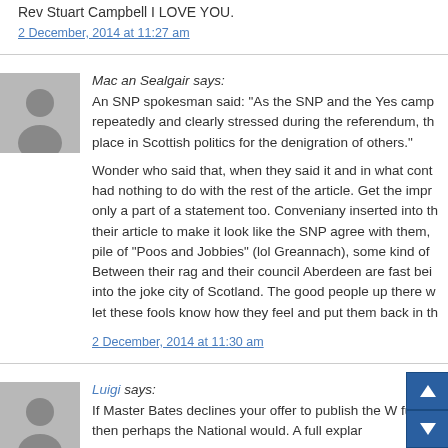Rev Stuart Campbell I LOVE YOU.
2 December, 2014 at 11:27 am
Mac an Sealgair says:
An SNP spokesman said: “As the SNP and the Yes camp repeatedly and clearly stressed during the referendum, th place in Scottish politics for the denigration of others.”
Wonder who said that, when they said it and in what cont had nothing to do with the rest of the article. Get the impr only a part of a statement too. Conveniany inserted into th their article to make it look like the SNP agree with them, pile of “Poos and Jobbies” (lol Greannach), some kind of Between their rag and their council Aberdeen are fast bei into the joke city of Scotland. The good people up there w let these fools know how they feel and put them back in th
2 December, 2014 at 11:30 am
Luigi says:
If Master Bates declines your offer to publish the W full, then perhaps the National would. A full explar